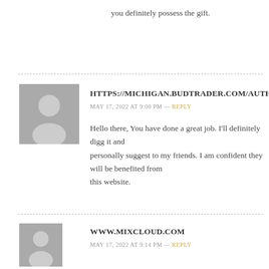you definitely possess the gift.
HTTPS://MICHIGAN.BUDTRADER.COM/AUTHOR/BUSKH
MAY 17, 2022 AT 9:08 PM — REPLY
Hello there, You have done a great job. I'll definitely digg it and personally suggest to my friends. I am confident they will be benefited from this website.
WWW.MIXCLOUD.COM
MAY 17, 2022 AT 9:14 PM — REPLY